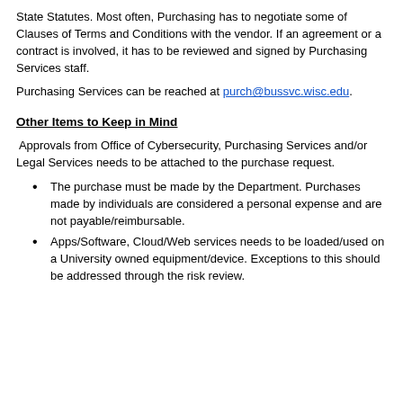State Statutes. Most often, Purchasing has to negotiate some of Clauses of Terms and Conditions with the vendor. If an agreement or a contract is involved, it has to be reviewed and signed by Purchasing Services staff.
Purchasing Services can be reached at purch@bussvc.wisc.edu.
Other Items to Keep in Mind
Approvals from Office of Cybersecurity, Purchasing Services and/or Legal Services needs to be attached to the purchase request.
The purchase must be made by the Department. Purchases made by individuals are considered a personal expense and are not payable/reimbursable.
Apps/Software, Cloud/Web services needs to be loaded/used on a University owned equipment/device. Exceptions to this should be addressed through the risk review.